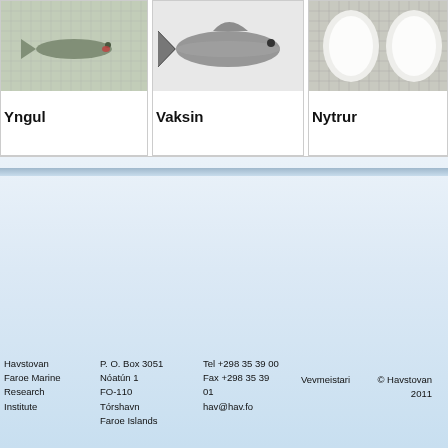[Figure (photo): Photo of a small fish specimen (Yngul/juvenile) on a grid/measurement background]
Yngul
[Figure (photo): Photo of a larger fish specimen (Vaksin) on a white background]
Vaksin
[Figure (photo): Photo of fish scales or otoliths (Nytrur) on a grid background]
Nytrur
Havstovan Faroe Marine Research Institute | P. O. Box 3051 Nóatún 1 FO-110 Tórshavn Faroe Islands | Tel +298 35 39 00 Fax +298 35 39 01 hav@hav.fo | Vevmeistari | © Havstovan 2011